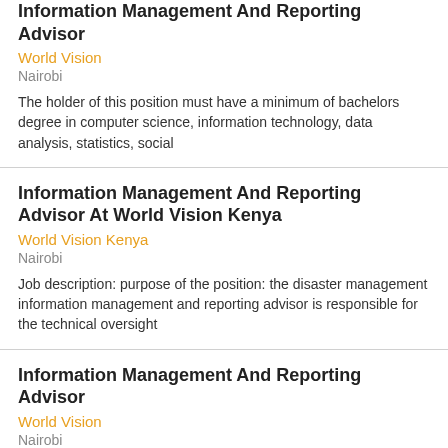Information Management And Reporting Advisor
World Vision
Nairobi
The holder of this position must have a minimum of bachelors degree in computer science, information technology, data analysis, statistics, social
Information Management And Reporting Advisor At World Vision Kenya
World Vision Kenya
Nairobi
Job description: purpose of the position: the disaster management information management and reporting advisor is responsible for the technical oversight
Information Management And Reporting Advisor
World Vision
Nairobi
Job ad & profile description position : information management and reporting advisorwith over 70 years of experience, our focus is on helping the most
SNR.Technical advisor-care and treatment (c&t) at Ivct health